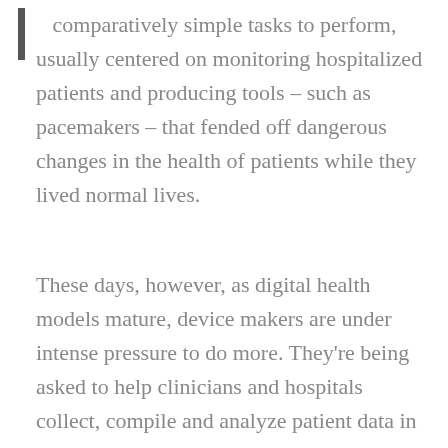comparatively simple tasks to perform, usually centered on monitoring hospitalized patients and producing tools – such as pacemakers – that fended off dangerous changes in the health of patients while they lived normal lives.
These days, however, as digital health models mature, device makers are under intense pressure to do more. They're being asked to help clinicians and hospitals collect, compile and analyze patient data in real-time. More importantly, they're being asked to find new approaches to tracking and managing patient